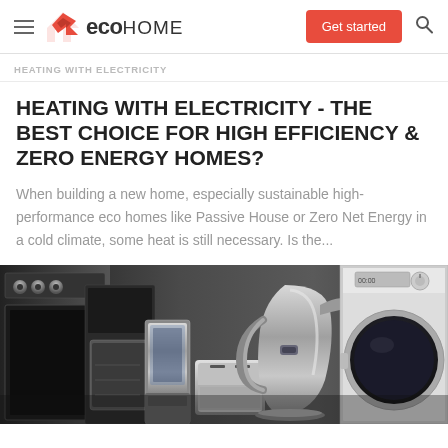ecoHOME — navigation bar with Get started button
HEATING WITH ELECTRICITY
HEATING WITH ELECTRICITY - THE BEST CHOICE FOR HIGH EFFICIENCY & ZERO ENERGY HOMES?
When building a new home, especially sustainable high-performance eco homes like Passive House or Zero Net Energy in a cold climate, some heat is still necessary. Is the...
[Figure (photo): Close-up photo of various stainless steel kitchen and home appliances including a coffee maker, kettle, toaster, blender, and washing machine]